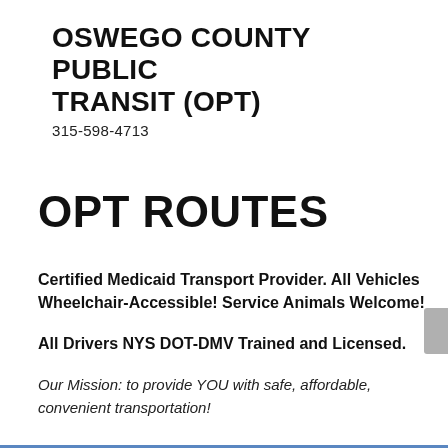OSWEGO COUNTY PUBLIC TRANSIT (OPT)
315-598-4713
OPT ROUTES
Certified Medicaid Transport Provider. All Vehicles Wheelchair-Accessible! Service Animals Welcome!
All Drivers NYS DOT-DMV Trained and Licensed.
Our Mission: to provide YOU with safe, affordable, convenient transportation!